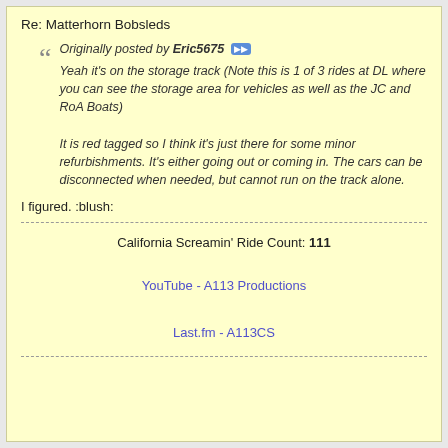Re: Matterhorn Bobsleds
Originally posted by Eric5675 [>>]
Yeah it's on the storage track (Note this is 1 of 3 rides at DL where you can see the storage area for vehicles as well as the JC and RoA Boats)
It is red tagged so I think it's just there for some minor refurbishments. It's either going out or coming in. The cars can be disconnected when needed, but cannot run on the track alone.
I figured. :blush:
California Screamin' Ride Count: 111
YouTube - A113 Productions
Last.fm - A113CS